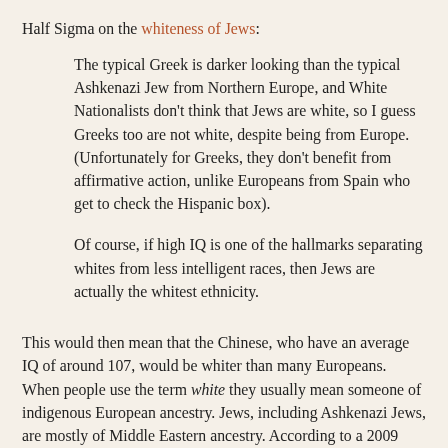Half Sigma on the whiteness of Jews:
The typical Greek is darker looking than the typical Ashkenazi Jew from Northern Europe, and White Nationalists don't think that Jews are white, so I guess Greeks too are not white, despite being from Europe. (Unfortunately for Greeks, they don't benefit from affirmative action, unlike Europeans from Spain who get to check the Hispanic box).
Of course, if high IQ is one of the hallmarks separating whites from less intelligent races, then Jews are actually the whitest ethnicity.
This would then mean that the Chinese, who have an average IQ of around 107, would be whiter than many Europeans. When people use the term white they usually mean someone of indigenous European ancestry. Jews, including Ashkenazi Jews, are mostly of Middle Eastern ancestry. According to a 2009 genetics paper by Michael Seldin and his colleagues: